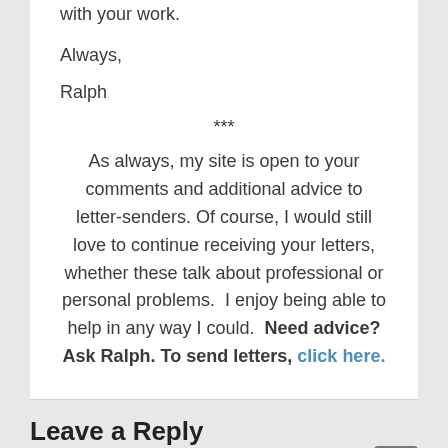with your work.
Always,
Ralph
***
As always, my site is open to your comments and additional advice to letter-senders. Of course, I would still love to continue receiving your letters, whether these talk about professional or personal problems.  I enjoy being able to help in any way I could.  Need advice? Ask Ralph. To send letters, click here.
Leave a Reply
Your email address will not be published. Required fields are marked *